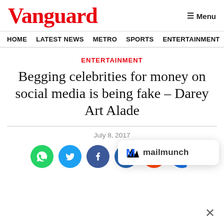Vanguard
HOME  LATEST NEWS  METRO  SPORTS  ENTERTAINMENT  VIDEOS
ENTERTAINMENT
Begging celebrities for money on social media is being fake – Darey Art Alade
July 8, 2017
[Figure (infographic): Social media share buttons: WhatsApp (green), Twitter (blue), Facebook (dark blue), LinkedIn (blue), Reddit (orange), and a partially visible blue circle. A mailmunch popup overlay is shown on the right with an M logo and 'mailmunch' text, and an X close button at bottom right.]